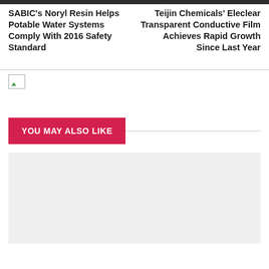SABIC's Noryl Resin Helps Potable Water Systems Comply With 2016 Safety Standard
Teijin Chemicals' Eleclear Transparent Conductive Film Achieves Rapid Growth Since Last Year
[Figure (photo): Broken image placeholder with small green triangle icon, horizontal rule at top]
YOU MAY ALSO LIKE
[Figure (photo): Light gray placeholder card area]